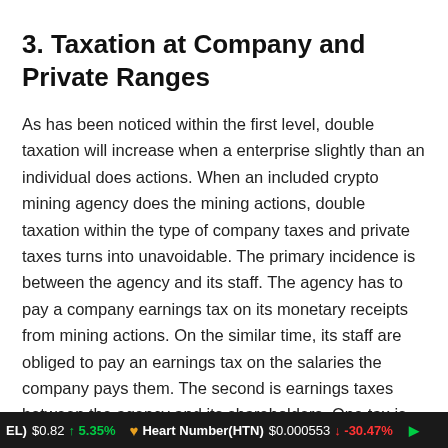3. Taxation at Company and Private Ranges
As has been noticed within the first level, double taxation will increase when a enterprise slightly than an individual does actions. When an included crypto mining agency does the mining actions, double taxation within the type of company taxes and private taxes turns into unavoidable. The primary incidence is between the agency and its staff. The agency has to pay a company earnings tax on its monetary receipts from mining actions. On the similar time, its staff are obliged to pay an earnings tax on the salaries the company pays them. The second is earnings taxes between the agency and its shareholders. One tax is paid on the company degree as company earnings tax, whereas
REL) $0.82 ↑ 5.35% Heart Number(HTN) $0.000553 ↓ -30.47%